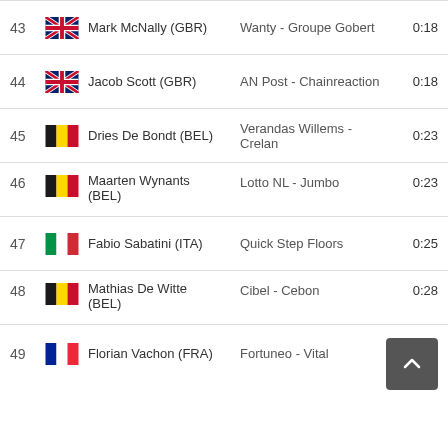| # | Flag | Rider | Team | Time |
| --- | --- | --- | --- | --- |
| 43 | GBR | Mark McNally (GBR) | Wanty - Groupe Gobert | 0:18 |
| 44 | GBR | Jacob Scott (GBR) | AN Post - Chainreaction | 0:18 |
| 45 | BEL | Dries De Bondt (BEL) | Verandas Willems - Crelan | 0:23 |
| 46 | BEL | Maarten Wynants (BEL) | Lotto NL - Jumbo | 0:23 |
| 47 | ITA | Fabio Sabatini (ITA) | Quick Step Floors | 0:25 |
| 48 | BEL | Mathias De Witte (BEL) | Cibel - Cebon | 0:28 |
| 49 | FRA | Florian Vachon (FRA) | Fortuneo - Vital | 0:28 |